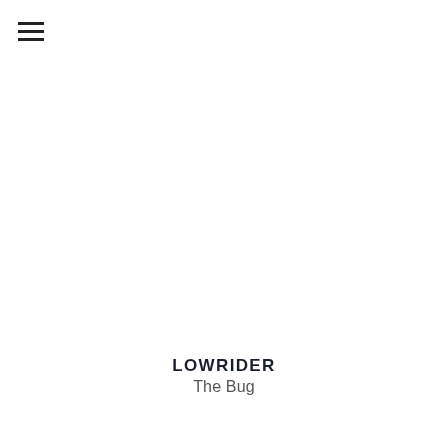[Figure (other): Hamburger menu icon (three horizontal lines) in top-left corner]
LOWRIDER
The Bug